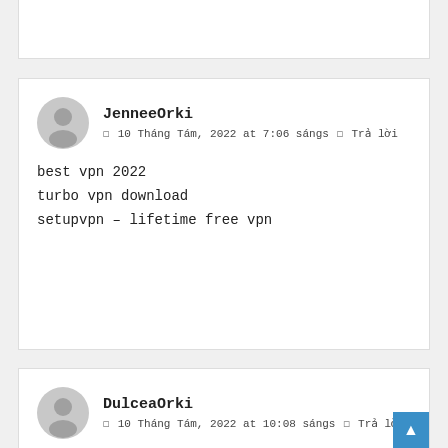JenneeOrki — 10 Tháng Tám, 2022 at 7:06 sángs — Trả lời
best vpn 2022
turbo vpn download
setupvpn – lifetime free vpn
DulceaOrki — 10 Tháng Tám, 2022 at 10:08 sángs — Trả lời
best casino welcome bonus